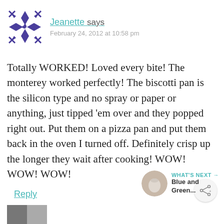[Figure (illustration): Purple geometric snowflake/quilt pattern avatar icon]
Jeanette says
February 24, 2012 at 10:58 pm
Totally WORKED! Loved every bite! The monterey worked perfectly! The biscotti pan is the silicon type and no spray or paper or anything, just tipped 'em over and they popped right out. Put them on a pizza pan and put them back in the oven I turned off. Definitely crisp up the longer they wait after cooking! WOW! WOW! WOW!
Reply
[Figure (illustration): Share icon (network share symbol with +)]
WHAT'S NEXT → Blue and Green...
[Figure (photo): Small circular thumbnail photo]